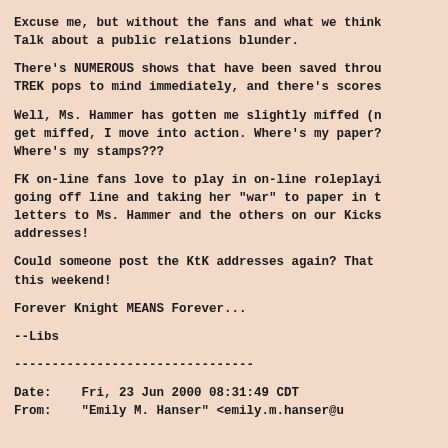Excuse me, but without the fans and what we think Talk about a public relations blunder.
There's NUMEROUS shows that have been saved throu TREK pops to mind immediately, and there's scores
Well, Ms. Hammer has gotten me slightly miffed (n get miffed, I move into action. Where's my paper? Where's my stamps???
FK on-line fans love to play in on-line roleplayi going off line and taking her "war" to paper in t letters to Ms. Hammer and the others on our Kicks addresses!
Could someone post the KtK addresses again? That this weekend!
Forever Knight MEANS Forever...
--Libs
--------------------------------
Date:    Fri, 23 Jun 2000 08:31:49 CDT
From:    "Emily M. Hanser" <emily.m.hanser@u